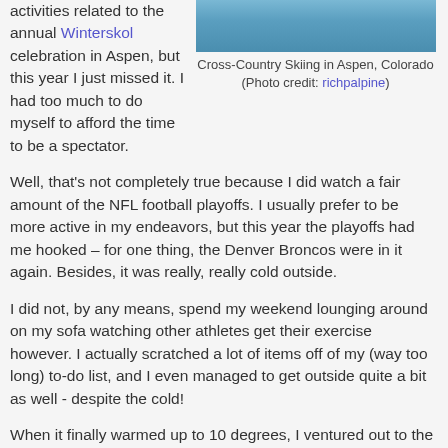activities related to the annual Winterskol celebration in Aspen, but this year I just missed it. I had too much to do myself to afford the time to be a spectator.
[Figure (photo): Cross-Country Skiing in Aspen, Colorado — a blue/white winter landscape photo]
Cross-Country Skiing in Aspen, Colorado (Photo credit: richpalpine)
Well, that's not completely true because I did watch a fair amount of the NFL football playoffs. I usually prefer to be more active in my endeavors, but this year the playoffs had me hooked – for one thing, the Denver Broncos were in it again. Besides, it was really, really cold outside.
I did not, by any means, spend my weekend lounging around on my sofa watching other athletes get their exercise however. I actually scratched a lot of items off of my (way too long) to-do list, and I even managed to get outside quite a bit as well - despite the cold!
When it finally warmed up to 10 degrees, I ventured out to the Aspen High School and Aspen Golf Course cross-country venues, got some great exercise and thoroughly enjoyed myself.